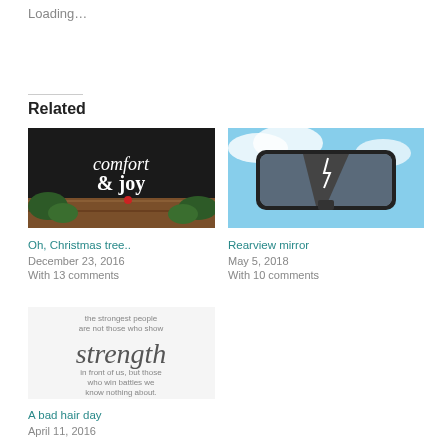Loading...
Related
[Figure (photo): Sign reading 'comfort & joy' with Christmas greenery in a wooden box]
Oh, Christmas tree..
December 23, 2016
With 13 comments
[Figure (photo): Rearview mirror reflecting a stormy sky with lightning, set against a blue sky with clouds]
Rearview mirror
May 5, 2018
With 10 comments
[Figure (photo): Inspirational text image: 'the strongest people are not those who show strength in front of us, but those who win battles we know nothing about.']
A bad hair day
April 11, 2016